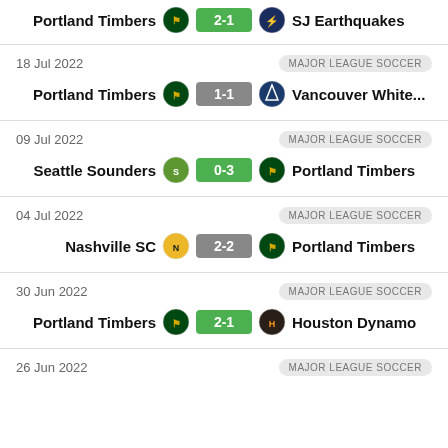Portland Timbers 2-1 SJ Earthquakes
18 Jul 2022 | MAJOR LEAGUE SOCCER | Portland Timbers 1-1 Vancouver White...
09 Jul 2022 | MAJOR LEAGUE SOCCER | Seattle Sounders 0-3 Portland Timbers
04 Jul 2022 | MAJOR LEAGUE SOCCER | Nashville SC 2-2 Portland Timbers
30 Jun 2022 | MAJOR LEAGUE SOCCER | Portland Timbers 2-1 Houston Dynamo
26 Jun 2022 | MAJOR LEAGUE SOCCER